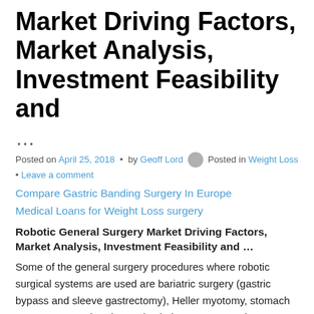Market Driving Factors, Market Analysis, Investment Feasibility and
…
Posted on April 25, 2018 • by Geoff Lord Posted in Weight Loss • Leave a comment
Compare Gastric Banding Surgery In Europe
Medical Loans for Weight Loss surgery
Robotic General Surgery Market Driving Factors, Market Analysis, Investment Feasibility and …
Some of the general surgery procedures where robotic surgical systems are used are bariatric surgery (gastric bypass and sleeve gastrectomy), Heller myotomy, stomach cancer surgery, hernia repair, cholecystectomy, Nissen fundoplication, and pancreatectomy. Robotic surgery offers several …
Continue reading this story…